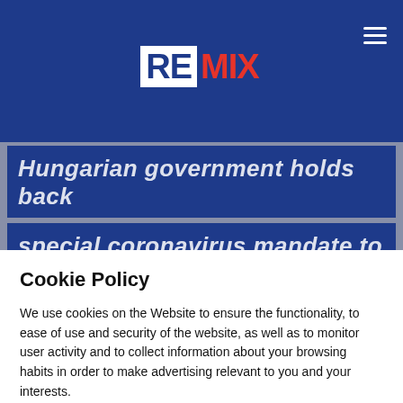[Figure (logo): REMIX news website logo with RE in white box on dark blue background and MIX in red text]
Hungarian government holds back special coronavirus mandate to
Cookie Policy
We use cookies on the Website to ensure the functionality, to ease of use and security of the website, as well as to monitor user activity and to collect information about your browsing habits in order to make advertising relevant to you and your interests.
Clicking on "Accept" you can allow all cookies. If you would like to reject or customize, please click on "Settings".
Read more: Cookie Policy
SETTINGS
ACCEPT